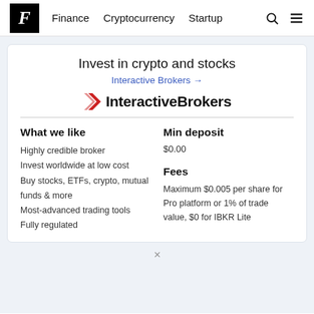F  Finance  Cryptocurrency  Startup
[Figure (logo): Interactive Brokers logo with red chevron icon and bold text 'InteractiveBrokers']
Invest in crypto and stocks
Interactive Brokers →
What we like
Highly credible broker
Invest worldwide at low cost
Buy stocks, ETFs, crypto, mutual funds & more
Most-advanced trading tools
Fully regulated
Min deposit
$0.00
Fees
Maximum $0.005 per share for Pro platform or 1% of trade value, $0 for IBKR Lite